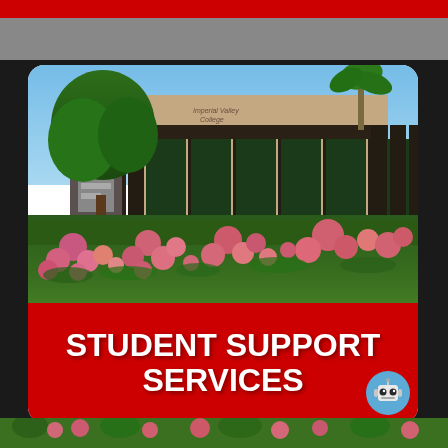[Figure (photo): Exterior photo of Imperial Valley College (or similar community college) building with columns, glass panels, trees and rose bushes in the foreground. A red banner overlay reads STUDENT SUPPORT SERVICES in large white bold text. A blue circle with a robot/owl icon appears in the bottom-right corner.]
STUDENT SUPPORT SERVICES